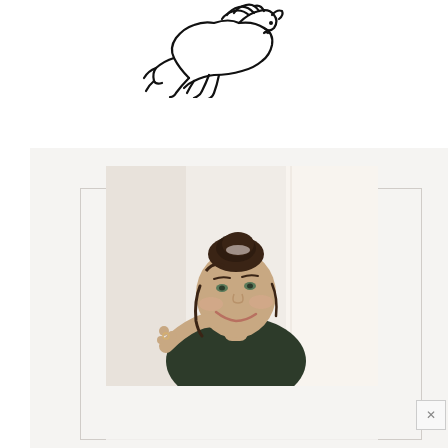[Figure (logo): Black line art logo of a running horse or lion figure, hand-drawn style]
[Figure (photo): Portrait photograph of a young woman with dark hair in a bun, wearing a dark green knit sweater, smiling over her shoulder, photographed in a bright white interior setting. Image is displayed in a lightbox-style overlay with a light beige background panel, thin border rectangle, and a close (X) button in the bottom right corner.]